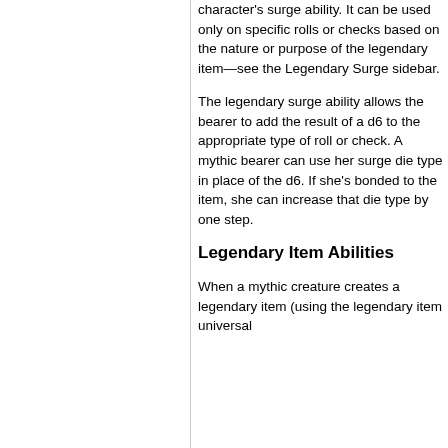character's surge ability. It can be used only on specific rolls or checks based on the nature or purpose of the legendary item—see the Legendary Surge sidebar.
The legendary surge ability allows the bearer to add the result of a d6 to the appropriate type of roll or check. A mythic bearer can use her surge die type in place of the d6. If she's bonded to the item, she can increase that die type by one step.
Legendary Item Abilities
When a mythic creature creates a legendary item (using the legendary item universal